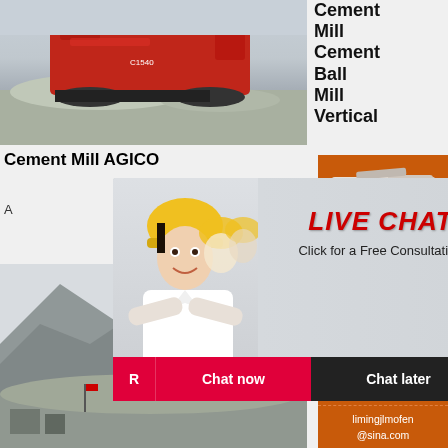[Figure (photo): Industrial mobile crusher/screening machine (red) at a quarry site with gravel mounds]
Cement Mill AGICO
A
[Figure (infographic): Live chat popup overlay with woman in hard hat, 'LIVE CHAT' text in red, 'Click for a Free Consultation', Chat now and Chat later buttons]
[Figure (photo): Quarry or mining site with mountain/hillside terrain]
Cement Mill
Cement Ball Mill
Vertical
[Figure (infographic): Orange sidebar with two industrial machine images, 'Enjoy 3% discount', 'Click to Chat' yellow button]
Enquiry
limingjlmofen@sina.com